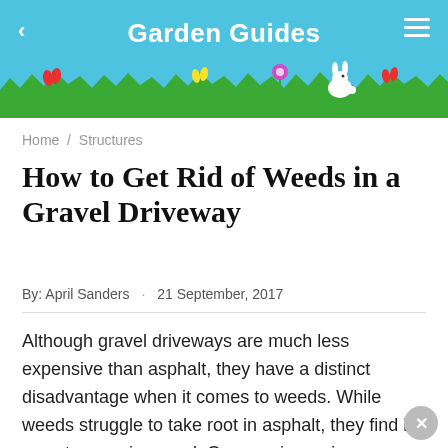Garden Guides
[Figure (illustration): Garden scene with grass, colorful tulips/flowers, and a white rabbit silhouette on a cyan/blue background]
Home / Structures
How to Get Rid of Weeds in a Gravel Driveway
By: April Sanders · 21 September, 2017
Although gravel driveways are much less expensive than asphalt, they have a distinct disadvantage when it comes to weeds. While weeds struggle to take root in asphalt, they find it easy to grow in gravel. Once spring arrives, your smooth gravel driveway will look more like a miniature weed forest. Get rid of the weeds in your gravel driveway and enjoy the neat look of the